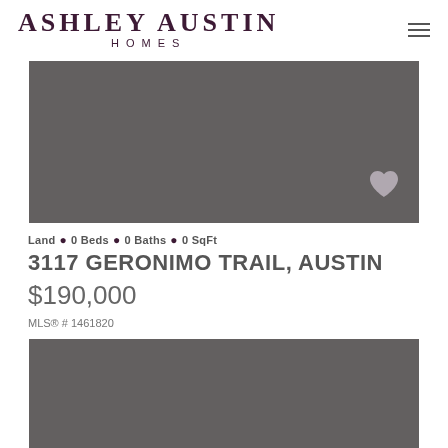[Figure (logo): Ashley Austin Homes logo with serif text]
[Figure (photo): Property listing photo placeholder (gray rectangle) with heart/favorite icon in bottom-right corner]
Land • 0 Beds • 0 Baths • 0 SqFt
3117 GERONIMO TRAIL, AUSTIN
$190,000
MLS® # 1461820
[Figure (photo): Second property listing photo placeholder (gray rectangle)]